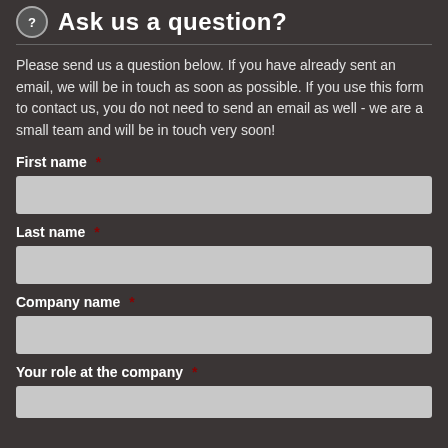Ask us a question?
Please send us a question below. If you have already sent an email, we will be in touch as soon as possible. If you use this form to contact us, you do not need to send an email as well - we are a small team and will be in touch very soon!
First name *
Last name *
Company name *
Your role at the company *